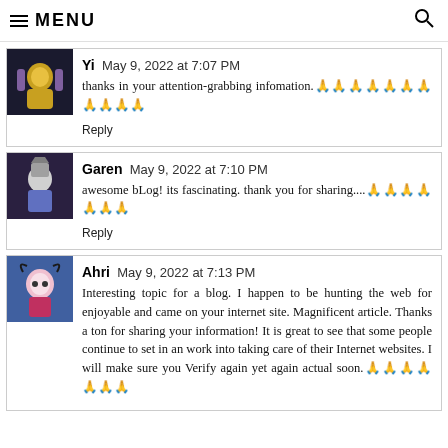≡ MENU
Yi  May 9, 2022 at 7:07 PM
thanks in your attention-grabbing infomation.🙏🙏🙏🙏🙏🙏🙏🙏🙏🙏🙏
Reply
Garen  May 9, 2022 at 7:10 PM
awesome bLog! its fascinating. thank you for sharing....🙏🙏🙏🙏🙏🙏🙏
Reply
Ahri  May 9, 2022 at 7:13 PM
Interesting topic for a blog. I happen to be hunting the web for enjoyable and came on your internet site. Magnificent article. Thanks a ton for sharing your information! It is great to see that some people continue to set in an work into taking care of their Internet websites. I will make sure you Verify again yet again actual soon.🙏🙏🙏🙏🙏🙏🙏